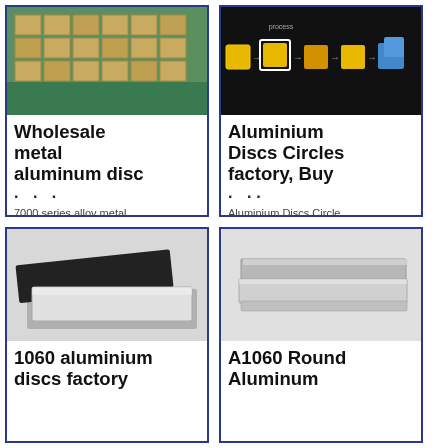[Figure (photo): Warehouse stacked with metal aluminum sheets/pallets on green floor]
Wholesale metal aluminum disc
· · ·
7000 series alloy metal...
[Figure (photo): Process diagram showing yellow and blue cubes transforming on black background]
Aluminium Discs Circles factory, Buy
· ··
Aluminium Discs Circle...
[Figure (photo): 1060 aluminium disc slab with black top layer and silver bottom]
1060 aluminium discs factory
[Figure (photo): A1060 Round Aluminum stacked flat plates, silver/grey color]
A1060 Round Aluminum